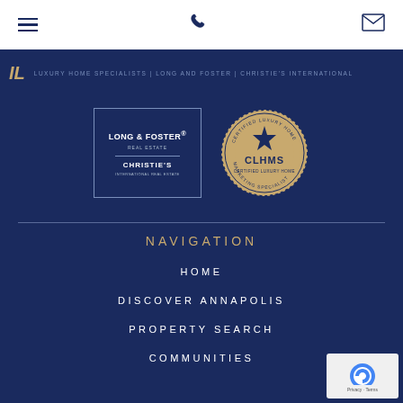LUXURY HOME SPECIALISTS | LONG AND FOSTER | CHRISTIE'S INTERNATIONAL
[Figure (logo): Long & Foster Real Estate / Christie's International Real Estate combined logo box]
[Figure (logo): CLHMS Certified Luxury Home Marketing Specialist badge]
NAVIGATION
HOME
DISCOVER ANNAPOLIS
PROPERTY SEARCH
COMMUNITIES